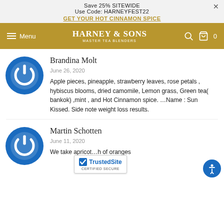Save 25% SITEWIDE
Use Code: HARNEYFEST22
GET YOUR HOT CINNAMON SPICE
[Figure (screenshot): Harney & Sons Master Tea Blenders navigation bar with hamburger menu, brand logo, search and cart icons]
[Figure (logo): Blue circular power/user avatar icon for Brandina Molt]
Brandina Molt
June 26, 2020
Apple pieces, pineapple, strawberry leaves, rose petals , hybiscus blooms, dried camomile, Lemon grass, Green tea( bankok) ,mint , and Hot Cinnamon spice. …Name : Sun Kissed. Side note weight loss results.
[Figure (logo): Blue circular power/user avatar icon for Martin Schotten]
Martin Schotten
June 11, 2020
We take apricot … h of oranges
[Figure (logo): TrustedSite Certified Secure badge]
[Figure (other): Accessibility icon button (blue circle with person icon)]